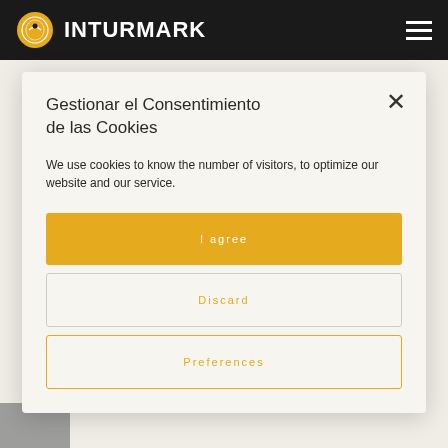INTURMARK
Gestionar el Consentimiento de las Cookies
We use cookies to know the number of visitors, to optimize our website and our service.
I agree
Discard
Preferences